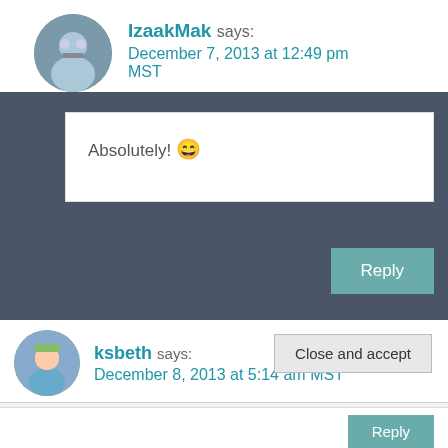IzaakMak says: December 7, 2013 at 12:49 pm MST
Absolutely! 😄
Reply
ksbeth says: December 8, 2013 at 5:14 am MST
Privacy & Cookies: This site uses cookies. By continuing to use this website, you agree to their use. To find out more, including how to control cookies, see here: Cookie Policy
Close and accept
Reply